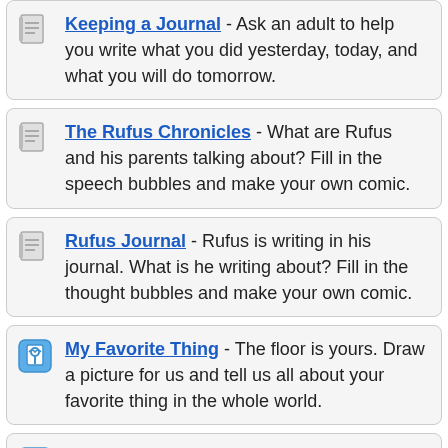Keeping a Journal - Ask an adult to help you write what you did yesterday, today, and what you will do tomorrow.
The Rufus Chronicles - What are Rufus and his parents talking about? Fill in the speech bubbles and make your own comic.
Rufus Journal - Rufus is writing in his journal. What is he writing about? Fill in the thought bubbles and make your own comic.
My Favorite Thing - The floor is yours. Draw a picture for us and tell us all about your favorite thing in the whole world.
My Family - Drawing a blank? Tell us all about